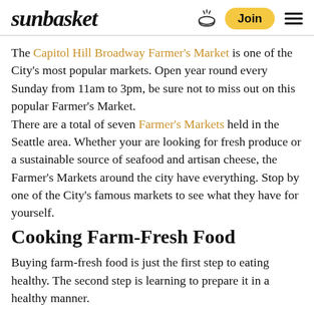sunbasket — Join
The Capitol Hill Broadway Farmer's Market is one of the City's most popular markets. Open year round every Sunday from 11am to 3pm, be sure not to miss out on this popular Farmer's Market. There are a total of seven Farmer's Markets held in the Seattle area. Whether your are looking for fresh produce or a sustainable source of seafood and artisan cheese, the Farmer's Markets around the city have everything. Stop by one of the City's famous markets to see what they have for yourself.
Cooking Farm-Fresh Food
Buying farm-fresh food is just the first step to eating healthy. The second step is learning to prepare it in a healthy manner.
One of the healthiest resources in Seattle is